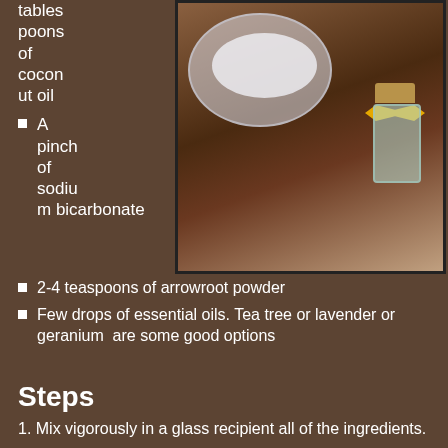tables poons of coconut oil
[Figure (photo): A glass bowl with white creamy mixture being stirred, and a small glass bottle with a cork and yellow ribbon bow, on a wooden surface]
A pinch of sodium bicarbonate
2-4 teaspoons of arrowroot powder
Few drops of essential oils. Tea tree or lavender or geranium  are some good options
Steps
Mix vigorously in a glass recipient all of the ingredients.